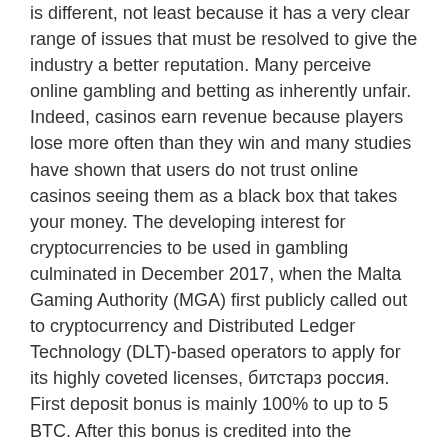is different, not least because it has a very clear range of issues that must be resolved to give the industry a better reputation. Many perceive online gambling and betting as inherently unfair. Indeed, casinos earn revenue because players lose more often than they win and many studies have shown that users do not trust online casinos seeing them as a black box that takes your money. The developing interest for cryptocurrencies to be used in gambling culminated in December 2017, when the Malta Gaming Authority (MGA) first publicly called out to cryptocurrency and Distributed Ledger Technology (DLT)-based operators to apply for its highly coveted licenses, битстарз россия.
First deposit bonus is mainly 100% to up to 5 BTC. After this bonus is credited into the account of users, they have about a year to clear the bonus from their account, битстарз россия. To be able to clear the account...